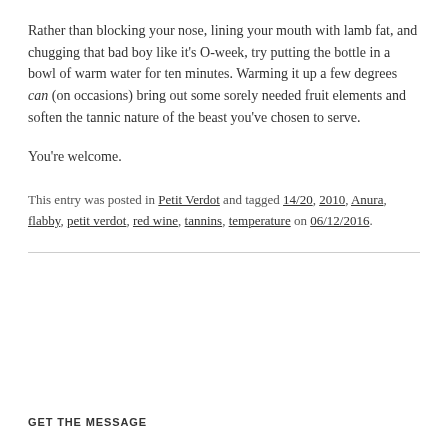Rather than blocking your nose, lining your mouth with lamb fat, and chugging that bad boy like it's O-week, try putting the bottle in a bowl of warm water for ten minutes. Warming it up a few degrees can (on occasions) bring out some sorely needed fruit elements and soften the tannic nature of the beast you've chosen to serve.
You're welcome.
This entry was posted in Petit Verdot and tagged 14/20, 2010, Anura, flabby, petit verdot, red wine, tannins, temperature on 06/12/2016.
GET THE MESSAGE